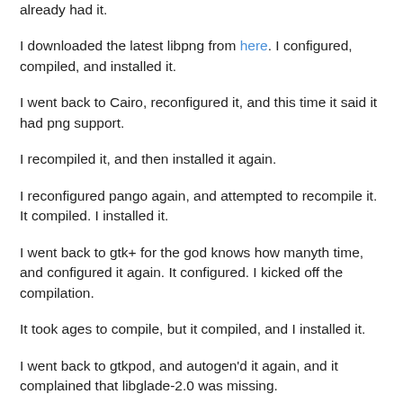already had it.
I downloaded the latest libpng from here. I configured, compiled, and installed it.
I went back to Cairo, reconfigured it, and this time it said it had png support.
I recompiled it, and then installed it again.
I reconfigured pango again, and attempted to recompile it. It compiled. I installed it.
I went back to gtk+ for the god knows how manyth time, and configured it again. It configured. I kicked off the compilation.
It took ages to compile, but it compiled, and I installed it.
I went back to gtkpod, and autogen'd it again, and it complained that libglade-2.0 was missing.
I checked I already had the libglade packages installed, I did,